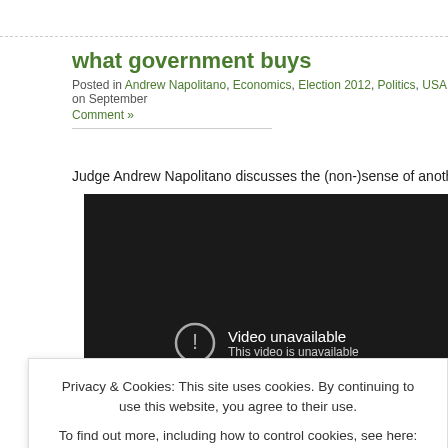what government buys
Posted in Andrew Napolitano, Economics, Election 2012, Politics, USA on September
Comment »
Judge Andrew Napolitano discusses the (non-)sense of another stimulus pack
[Figure (screenshot): Embedded video player showing 'Video unavailable - This video is unavailable' message on dark background]
Privacy & Cookies: This site uses cookies. By continuing to use this website, you agree to their use. To find out more, including how to control cookies, see here: Cookie Policy
Close and accept